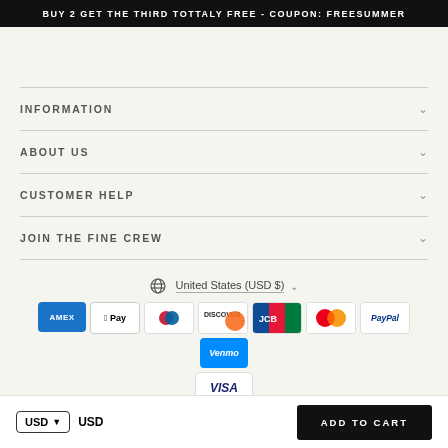BUY 2 GET THE THIRD TOTTALY FREE - COUPON: FREESUMMER
INFORMATION
ABOUT US
CUSTOMER HELP
JOIN THE FINE CREW
United States (USD $)
[Figure (infographic): Payment method icons: AMEX, Apple Pay, Diners, Discover, JCB, Mastercard, PayPal, Venmo, Visa]
USD ▾  USD
ADD TO CART